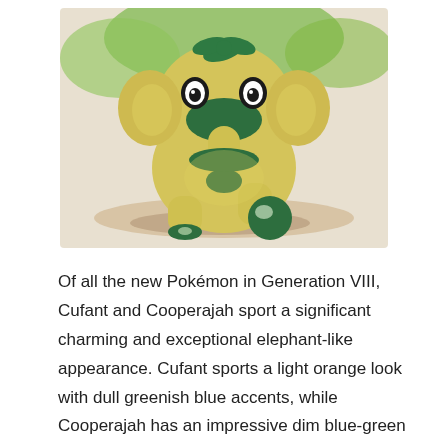[Figure (illustration): Cufant, a yellow elephant-like Pokémon with dark teal/green accents on its face, feet, and trunk area, standing on a sandy/earthy background with green foliage visible behind it.]
Of all the new Pokémon in Generation VIII, Cufant and Cooperajah sport a significant charming and exceptional elephant-like appearance. Cufant sports a light orange look with dull greenish blue accents, while Cooperajah has an impressive dim blue-green principle tone with brilliant accents. Be that as it may, notwithstanding the straightforwardness of their Shiny variations' visuals, they do radiate a more superb look. Rather than orange